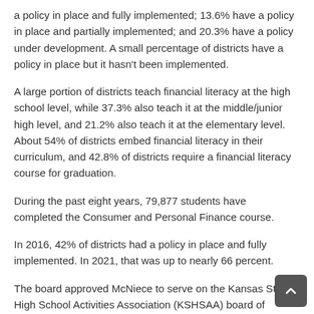a policy in place and fully implemented; 13.6% have a policy in place and partially implemented; and 20.3% have a policy under development. A small percentage of districts have a policy in place but it hasn't been implemented.
A large portion of districts teach financial literacy at the high school level, while 37.3% also teach it at the middle/junior high level, and 21.2% also teach it at the elementary level. About 54% of districts embed financial literacy in their curriculum, and 42.8% of districts require a financial literacy course for graduation.
During the past eight years, 79,877 students have completed the Consumer and Personal Finance course.
In 2016, 42% of districts had a policy in place and fully implemented. In 2021, that was up to nearly 66 percent.
The board approved McNiece to serve on the Kansas State High School Activities Association (KSHSAA) board of directors for 2021-2023.